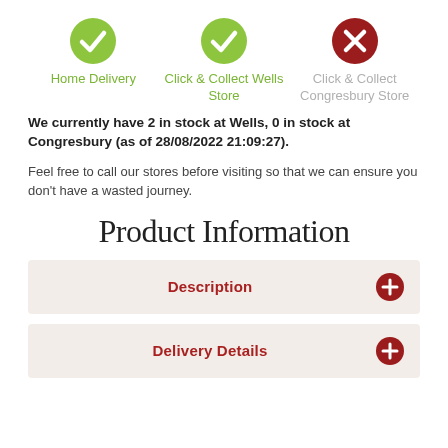[Figure (infographic): Three icons in a row: Home Delivery (green checkmark circle), Click & Collect Wells Store (green checkmark circle), Click & Collect Congresbury Store (red X circle). Labels below each icon.]
We currently have 2 in stock at Wells, 0 in stock at Congresbury (as of 28/08/2022 21:09:27).
Feel free to call our stores before visiting so that we can ensure you don't have a wasted journey.
Product Information
Description
Delivery Details